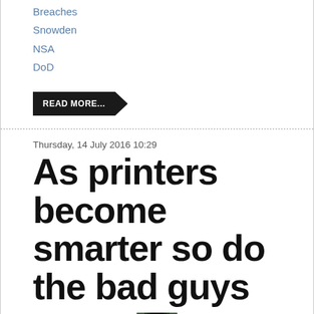Breaches
Snowden
NSA
DoD
READ MORE...
Thursday, 14 July 2016 10:29
As printers become smarter so do the bad guys
[Figure (photo): Partial view of a hooded figure, cropped at bottom of page]